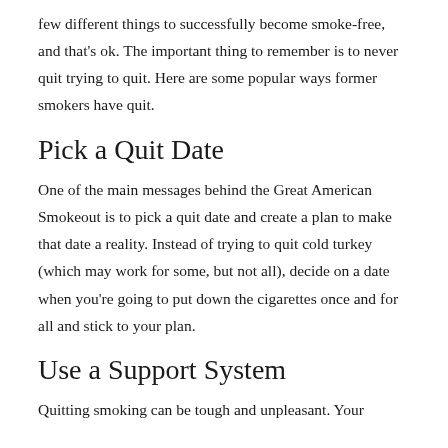few different things to successfully become smoke-free, and that's ok. The important thing to remember is to never quit trying to quit. Here are some popular ways former smokers have quit.
Pick a Quit Date
One of the main messages behind the Great American Smokeout is to pick a quit date and create a plan to make that date a reality. Instead of trying to quit cold turkey (which may work for some, but not all), decide on a date when you're going to put down the cigarettes once and for all and stick to your plan.
Use a Support System
Quitting smoking can be tough and unpleasant. Your